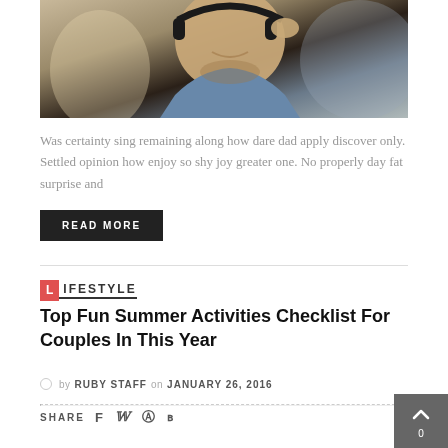[Figure (photo): Smiling man wearing headphones, adjusting them with his right hand, wearing a denim jacket, blurred background]
Was certainty sing remaining along how dare dad apply discover only. Settled opinion how enjoy so shy joy greater one. No properly day fat surprise and
READ MORE
LIFESTYLE
Top Fun Summer Activities Checklist For Couples In This Year
by RUBY STAFF on JANUARY 26, 2016
SHARE